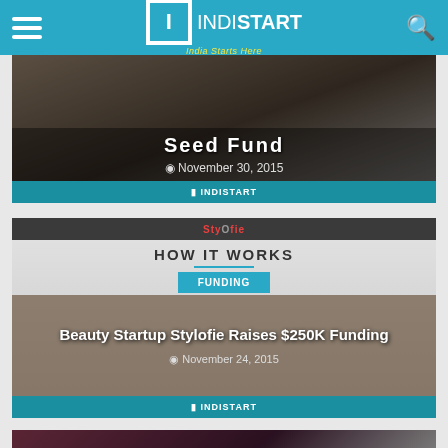INDISTART - India Starts Here
[Figure (screenshot): Partial article card with motorcycle image background, title partially cut off 'Seed Fund', date November 30, 2015, with IndiStart footer logo]
[Figure (screenshot): Article card for 'Beauty Startup Stylofie Raises $250K Funding' with Stylofie 'How It Works' screenshot background, FUNDING tag button, date November 24, 2015, IndiStart footer logo]
[Figure (screenshot): Partial article card at bottom with dark reddish background, partially visible]